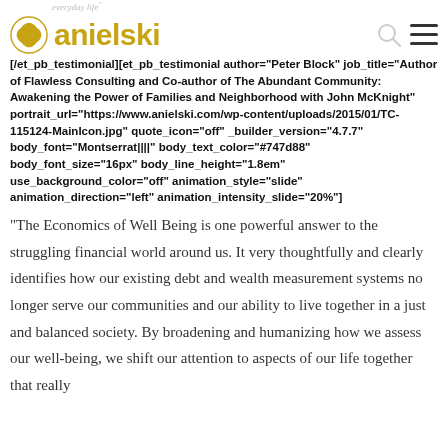everyday life
[Figure (logo): Anielski logo with pinwheel icon and search/menu icons]
[/et_pb_testimonial][et_pb_testimonial author="Peter Block" job_title="Author of Flawless Consulting and Co-author of The Abundant Community: Awakening the Power of Families and Neighborhood with John McKnight" portrait_url="https://www.anielski.com/wp-content/uploads/2015/01/TC-115124-MainIcon.jpg" quote_icon="off" _builder_version="4.7.7" body_font="Montserrat||||" body_text_color="#747d88" body_font_size="16px" body_line_height="1.8em" use_background_color="off" animation_style="slide" animation_direction="left" animation_intensity_slide="20%"]
“The Economics of Well Being is one powerful answer to the struggling financial world around us. It very thoughtfully and clearly identifies how our existing debt and wealth measurement systems no longer serve our communities and our ability to live together in a just and balanced society. By broadening and humanizing how we assess our well-being, we shift our attention to aspects of our life together that really